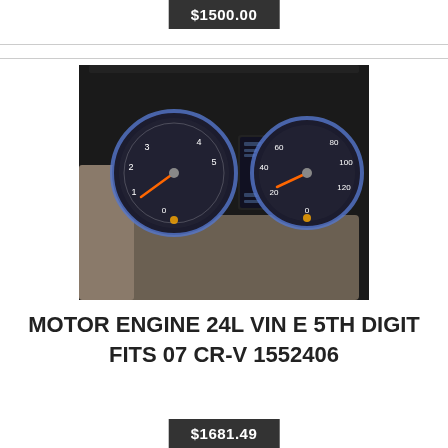$1500.00
[Figure (photo): Car dashboard with illuminated instrument cluster showing two gauges (speedometer and tachometer) with orange needles and blue/white lighting, with a center display showing warning symbols.]
MOTOR ENGINE 24L VIN E 5TH DIGIT FITS 07 CR-V 1552406
$1681.49